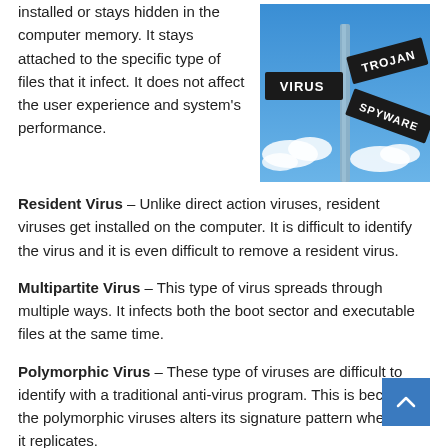installed or stays hidden in the computer memory. It stays attached to the specific type of files that it infect. It does not affect the user experience and system's performance.
[Figure (photo): Street sign post with directional signs reading VIRUS, TROJAN, SPYWARE against a blue sky with clouds]
Resident Virus – Unlike direct action viruses, resident viruses get installed on the computer. It is difficult to identify the virus and it is even difficult to remove a resident virus.
Multipartite Virus – This type of virus spreads through multiple ways. It infects both the boot sector and executable files at the same time.
Polymorphic Virus – These type of viruses are difficult to identify with a traditional anti-virus program. This is because the polymorphic viruses alters its signature pattern whenever it replicates.
Overwrite Virus – This type of virus deletes all the files that it